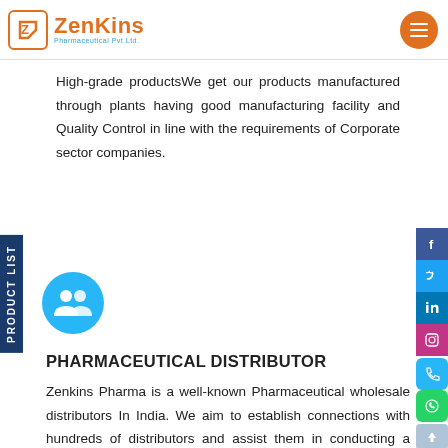ZenKins Pharmaceutical Pvt Ltd.
High-grade productsWe get our products manufactured through plants having good manufacturing facility and Quality Control in line with the requirements of Corporate sector companies.
[Figure (illustration): Users/people icon in a blue circle]
PHARMACEUTICAL DISTRIBUTOR
Zenkins Pharma is a well-known Pharmaceutical wholesale distributors In India. We aim to establish connections with hundreds of distributors and assist them in conducting a profitable business by selling